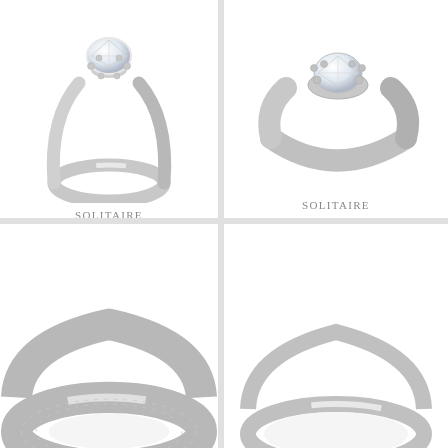[Figure (photo): Solitaire engagement diamond ring with a tall prong setting and thin silver band, viewed at an angle from above-left]
SOLITAIRE
ENGAGEMENT
DIAMOND RING
[Figure (photo): Solitaire engagement diamond ring with a low-profile prong setting and thick tapered silver band, viewed from the front]
SOLITAIRE
ENGAGEMENT
DIAMOND RING
[Figure (photo): Wide flat silver band ring with engraved or textured surface, partially cropped at bottom-left]
[Figure (photo): Thin plain silver wedding band ring, partially cropped at bottom-right]